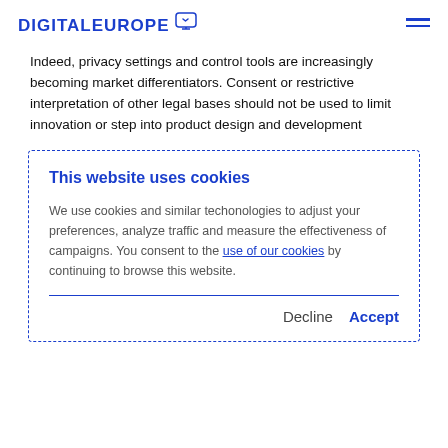DIGITALEUROPE
Indeed, privacy settings and control tools are increasingly becoming market differentiators. Consent or restrictive interpretation of other legal bases should not be used to limit innovation or step into product design and development
This website uses cookies
We use cookies and similar techonologies to adjust your preferences, analyze traffic and measure the effectiveness of campaigns. You consent to the use of our cookies by continuing to browse this website.
Decline  Accept